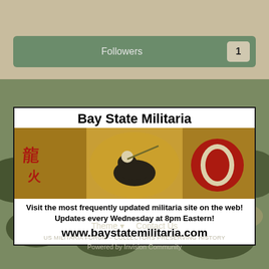Followers  1
[Figure (illustration): Bay State Militaria advertisement banner showing an antique military flag with a knight on horseback and red symbols, with text promoting www.baystatemilitaria.com]
Visit the most frequently updated militaria site on the web! Updates every Wednesday at 8pm Eastern!
www.baystatemilitaria.com
Theme  Contact Us
US MILITARIA FORUM – COLLECTORS PRESERVING HISTORY
Powered by Invision Community